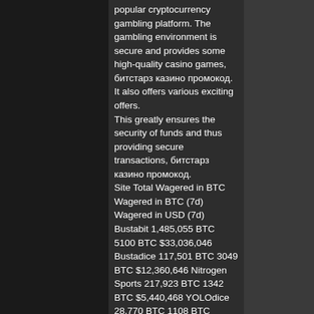popular cryptocurrency gambling platform. The gambling environment is secure and provides some high-quality casino games, битстарз казино промокод. It also offers various exciting offers. This greatly ensures the security of funds and thus providing secure transactions, битстарз казино промокод. Site Total Wagered in BTC Wagered in BTC (7d) Wagered in USD (7d) Bustabit 1,485,055 BTC 5100 BTC $33,036,046 Bustadice 117,501 BTC 3049 BTC $12,360,646 Nitrogen Sports 217,923 BTC 1342 BTC $5,440,468 YOLOdice 28,770 BTC 1108 BTC $4,491,832 CryptoGames 77,867 BTC 288 BTC $1,167,552, битстарз казино промокод. The data from the chart above was sourced from DiceSites. Most provably fair Bitcoin gambling sites look fairly the same'low-resolution graphics and interfaces that haven't paid a lot of attention